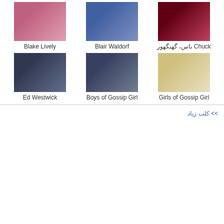[Figure (photo): Blake Lively thumbnail photo]
Blake Lively
[Figure (photo): Blair Waldorf thumbnail photo]
Blair Waldorf
[Figure (photo): Chuck Bass thumbnail photo with Persian text]
Chuck باس، گهنگهور
[Figure (photo): Ed Westwick thumbnail photo]
Ed Westwick
[Figure (photo): Boys of Gossip Girl thumbnail photo]
Boys of Gossip Girl
[Figure (photo): Girls of Gossip Girl thumbnail photo]
Girls of Gossip Girl
>> کلب زیاد‏